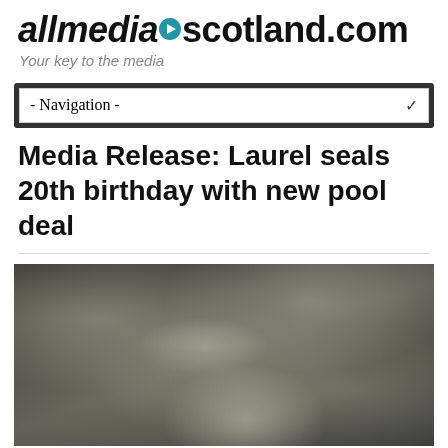allmedia▶scotland.com
Your key to the media
- Navigation -
Media Release: Laurel seals 20th birthday with new pool deal
[Figure (photo): Close-up photograph of turbulent dark water surface showing ripples and light reflections, appearing to be a pool or body of water viewed from above]